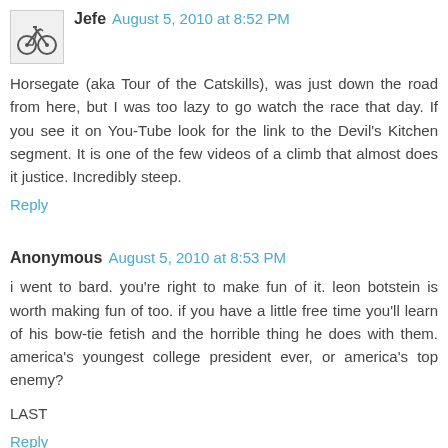[Figure (illustration): Bicycle icon in gray/black on a light background, square avatar]
Jefe August 5, 2010 at 8:52 PM
Horsegate (aka Tour of the Catskills), was just down the road from here, but I was too lazy to go watch the race that day. If you see it on You-Tube look for the link to the Devil's Kitchen segment. It is one of the few videos of a climb that almost does it justice. Incredibly steep.
Reply
Anonymous August 5, 2010 at 8:53 PM
i went to bard. you're right to make fun of it. leon botstein is worth making fun of too. if you have a little free time you'll learn of his bow-tie fetish and the horrible thing he does with them. america's youngest college president ever, or america's top enemy?
LAST
Reply
[Figure (illustration): Orange circle avatar, partially visible at bottom]
idktrn August 5, 2010 at 8:58 PM